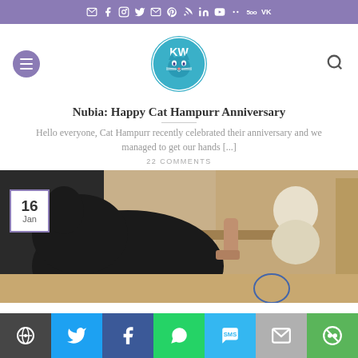Social media icon bar (email, facebook, instagram, twitter, email, pinterest, rss, linkedin, youtube, mewe, 500px, vk)
[Figure (logo): KW Katzenwelt circular logo with cat illustration in teal/blue]
Nubia: Happy Cat Hampurr Anniversary
Hello everyone, Cat Hampurr recently celebrated their anniversary and we managed to get our hands [...]
22 COMMENTS
[Figure (photo): Black cat near wooden furniture with a snowman figure visible, date badge showing 16 Jan]
Share bar: WordPress, Twitter, Facebook, WhatsApp, SMS, Email, More